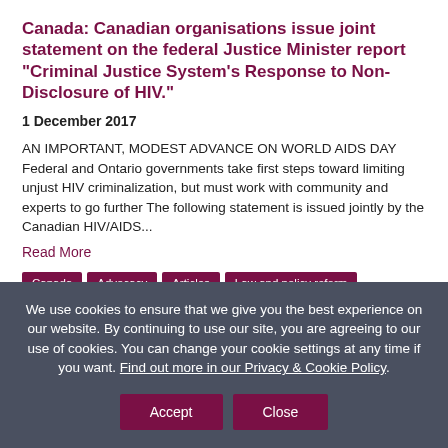Canada: Canadian organisations issue joint statement on the federal Justice Minister report “Criminal Justice System’s Response to Non-Disclosure of HIV.”
1 December 2017
AN IMPORTANT, MODEST ADVANCE ON WORLD AIDS DAY Federal and Ontario governments take first steps toward limiting unjust HIV criminalization, but must work with community and experts to go further The following statement is issued jointly by the Canadian HIV/AIDS...
Read More
Canada | Advocacy | Articles | Law and policy reform | Laws and policies
We use cookies to ensure that we give you the best experience on our website. By continuing to use our site, you are agreeing to our use of cookies. You can change your cookie settings at any time if you want. Find out more in our Privacy & Cookie Policy.